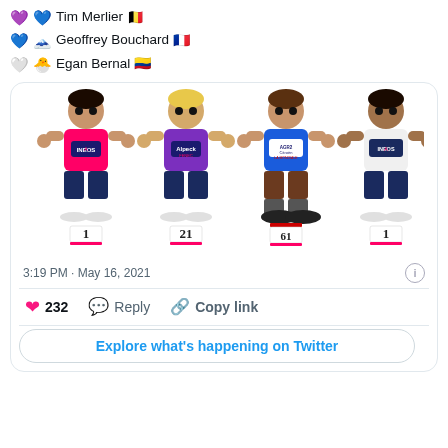Tim Merlier 🇧🇪
Geoffrey Bouchard 🇫🇷
Egan Bernal 🇨🇴
[Figure (illustration): Four cartoon cyclist figures wearing different colored jerseys with race numbers: 1, 21, 61, 1]
3:19 PM · May 16, 2021
232  Reply  Copy link
Explore what's happening on Twitter